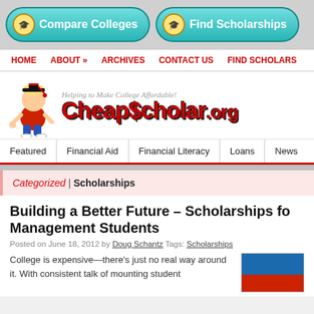[Figure (screenshot): Website header with two teal pill-shaped buttons: 'Compare Colleges' and 'Find Scholarships', each with a cartoon mascot icon]
HOME   ABOUT »   ARCHIVES   CONTACT US   FIND SCHOLARS
[Figure (logo): CheapScholar.org logo with cartoon mascot student in graduation cap, red bold text 'CheapScholar.org', tagline 'Helping to Make College Affordable!']
Featured   Financial Aid   Financial Literacy   Loans   News
Categorized | Scholarships
Building a Better Future – Scholarships for Management Students
Posted on June 18, 2012 by Doug Schantz Tags: Scholarships
College is expensive—there's just no real way around it. With consistent talk of mounting student